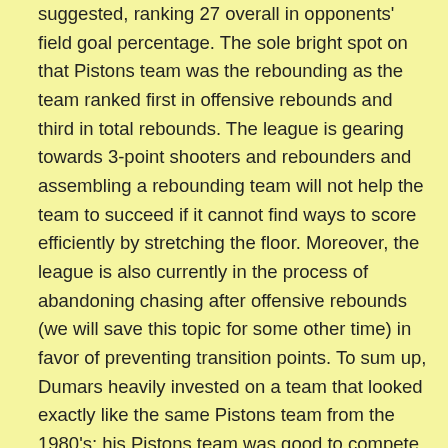suggested, ranking 27 overall in opponents' field goal percentage. The sole bright spot on that Pistons team was the rebounding as the team ranked first in offensive rebounds and third in total rebounds. The league is gearing towards 3-point shooters and rebounders and assembling a rebounding team will not help the team to succeed if it cannot find ways to score efficiently by stretching the floor. Moreover, the league is also currently in the process of abandoning chasing after offensive rebounds (we will save this topic for some other time) in favor of preventing transition points. To sum up, Dumars heavily invested on a team that looked exactly like the same Pistons team from the 1980's; his Pistons team was good to compete in his playing time but not in modern NBA games. Dumars' team was not a team built for perimeter shooting because it had too many bigs, which means no floor spacing, no 3-point threat, slow defensive recovery, and an easily predictable offense. No wonder why that Pistons team missed the